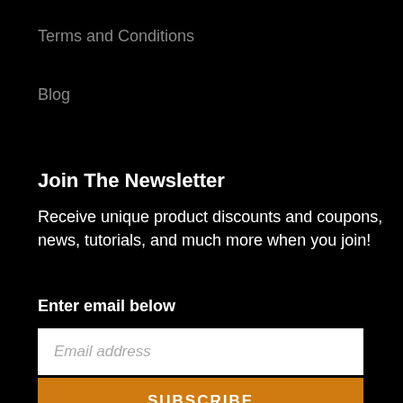Terms and Conditions
Blog
Join The Newsletter
Receive unique product discounts and coupons, news, tutorials, and much more when you join!
Enter email below
Email address
SUBSCRIBE